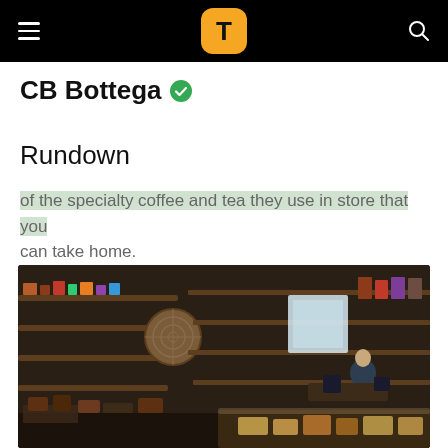T (logo) navigation bar with hamburger menu and search icon
CB Bottega ✓
Rundown
of the specialty coffee and tea they use in store that you can take home.
[Figure (photo): Interior of CB Bottega shop showing wooden shelving filled with products, a round woven wall decoration, a person working behind the counter, and a glass display case with food items in the foreground.]